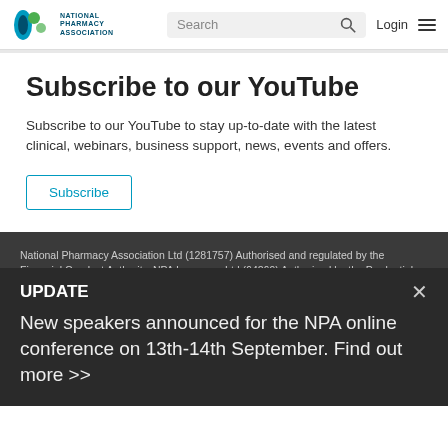NPA National Pharmacy Association | Search | Login
Subscribe to our YouTube
Subscribe to our YouTube to stay up-to-date with the latest clinical, webinars, business support, news, events and offers.
Subscribe
National Pharmacy Association Ltd (1281757) Authorised and regulated by the Financial Conduct Authority. NPA Insurance Ltd (64269) Authorised by the Prudential Regulation Authority and regulated by the Financial Conduct Authority and the Prudential Regulation Authority. NPA Services Ltd (303781). Head and registered offices: Mallinson House, 38-42 St. Peters Street, St. Albans
UPDATE
New speakers announced for the NPA online conference on 13th-14th September. Find out more >>